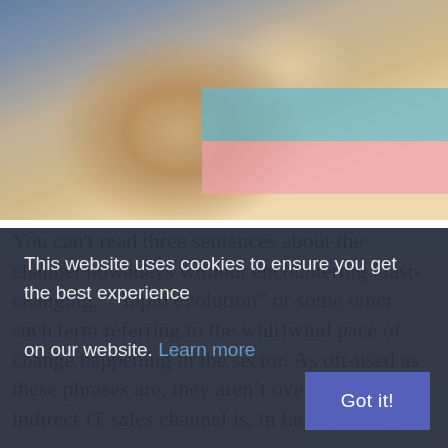[Figure (photo): Person in striped sleeve holding a pen over documents/charts on a table, viewed from above]
You can't read three sentences about the channel nowadays without encountering “fast-changing,” “rapid evolution” or some other such term referring to the whirlwind pace of change happening in the sector. As oft-used as these phrases are, they aren’t over-used. The indirect IT sales channel is, in fact, growing
This website uses cookies to ensure you get the best experience on our website. Learn more
Got it!